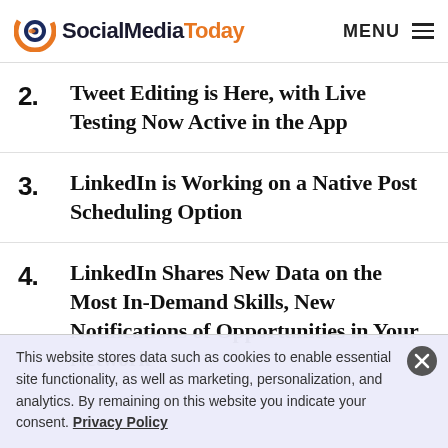SocialMediaToday  MENU
2. Tweet Editing is Here, with Live Testing Now Active in the App
3. LinkedIn is Working on a Native Post Scheduling Option
4. LinkedIn Shares New Data on the Most In-Demand Skills, New Notifications of Opportunities in Your Network
This website stores data such as cookies to enable essential site functionality, as well as marketing, personalization, and analytics. By remaining on this website you indicate your consent. Privacy Policy